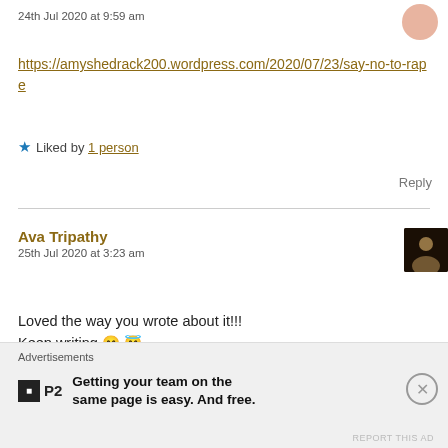24th Jul 2020 at 9:59 am
https://amyshedrack200.wordpress.com/2020/07/23/say-no-to-rape
★ Liked by 1 person
Reply
Ava Tripathy
25th Jul 2020 at 3:23 am
Loved the way you wrote about it!!!
Keep writing 😊 😇
Advertisements
Getting your team on the same page is easy. And free.